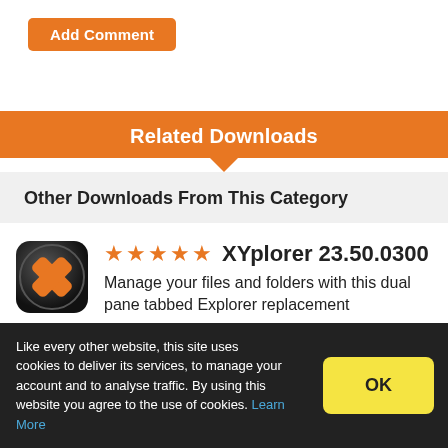Add Comment
Related Downloads
Other Downloads From This Category
[Figure (logo): XYplorer application icon — black rounded square with orange X mark]
★★★★★ XYplorer 23.50.0300
Manage your files and folders with this dual pane tabbed Explorer replacement
Trial Software
Like every other website, this site uses cookies to deliver its services, to manage your account and to analyse traffic. By using this website you agree to the use of cookies. Learn More
OK